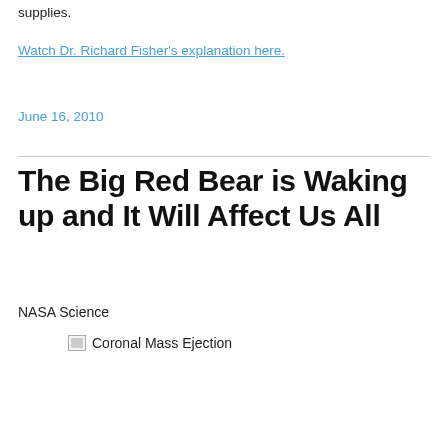supplies.
Watch Dr. Richard Fisher's explanation here.
June 16, 2010
The Big Red Bear is Waking up and It Will Affect Us All
NASA Science
[Figure (photo): Broken image placeholder labeled 'Coronal Mass Ejection']